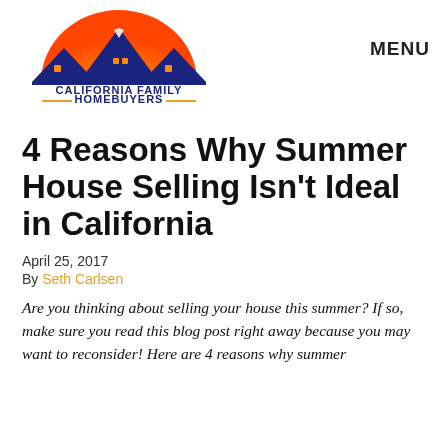[Figure (logo): California Family Homebuyers logo with orange sun, blue mountain/house silhouette, and company name in blue and orange text]
MENU
4 Reasons Why Summer House Selling Isn’t Ideal in California
April 25, 2017
By Seth Carlsen
Are you thinking about selling your house this summer? If so, make sure you read this blog post right away because you may want to reconsider! Here are 4 reasons why summer